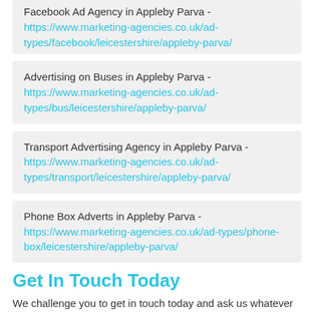Facebook Ad Agency in Appleby Parva - https://www.marketing-agencies.co.uk/ad-types/facebook/leicestershire/appleby-parva/
Advertising on Buses in Appleby Parva - https://www.marketing-agencies.co.uk/ad-types/bus/leicestershire/appleby-parva/
Transport Advertising Agency in Appleby Parva - https://www.marketing-agencies.co.uk/ad-types/transport/leicestershire/appleby-parva/
Phone Box Adverts in Appleby Parva - https://www.marketing-agencies.co.uk/ad-types/phone-box/leicestershire/appleby-parva/
Get In Touch Today
We challenge you to get in touch today and ask us whatever questions you might have. We're here to assist you every step of